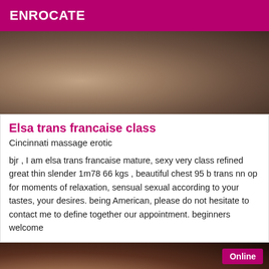ENROCATE
[Figure (photo): Blurred bedroom scene with figures on a bed with grey/purple bedding]
Elsa trans francaise class
Cincinnati massage erotic
bjr , I am elsa trans francaise mature, sexy very class refined great thin slender 1m78 66 kgs , beautiful chest 95 b trans nn op for moments of relaxation, sensual sexual according to your tastes, your desires. being American, please do not hesitate to contact me to define together our appointment. beginners welcome
[Figure (photo): Partial face/shoulder photo of a person with dark hair, with an 'Online' badge in the top right corner]